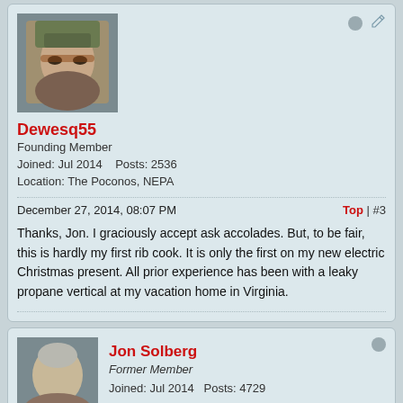[Figure (photo): Profile photo of Dewesq55, a man wearing glasses and a green cap, smiling]
Dewesq55
Founding Member
Joined: Jul 2014    Posts: 2536
Location: The Poconos, NEPA
December 27, 2014, 08:07 PM
Top | #3
Thanks, Jon. I graciously accept ask accolades. But, to be fair, this is hardly my first rib cook. It is only the first on my new electric Christmas present. All prior experience has been with a leaky propane vertical at my vacation home in Virginia.
[Figure (photo): Profile photo of Jon Solberg, a man smiling]
Jon Solberg
Former Member
Joined: Jul 2014    Posts: 4729